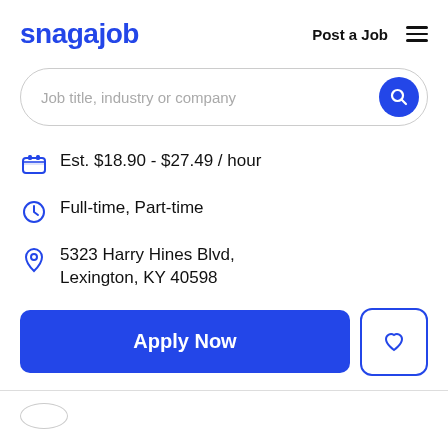snagajob   Post a Job
Job title, industry or company
Est. $18.90 - $27.49 / hour
Full-time, Part-time
5323 Harry Hines Blvd, Lexington, KY 40598
Apply Now